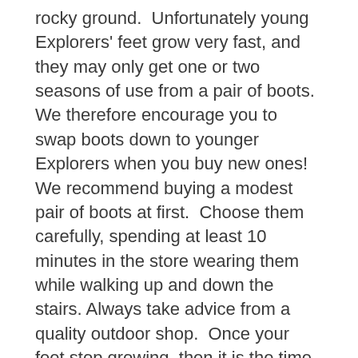rocky ground.  Unfortunately young Explorers' feet grow very fast, and they may only get one or two seasons of use from a pair of boots.  We therefore encourage you to swap boots down to younger Explorers when you buy new ones!  We recommend buying a modest pair of boots at first.  Choose them carefully, spending at least 10 minutes in the store wearing them while walking up and down the stairs. Always take advice from a quality outdoor shop.  Once your feet stop growing, then it is the time to invest in some serious boots.
Two pairs of socks – a thinner wicking pair on the inside, heavier woollen or technical fabric socks on the outside – are the key to a blister free life.  Talc or foot powder is a sensible thing to have when the weather is warm.  Spare laces are very highly